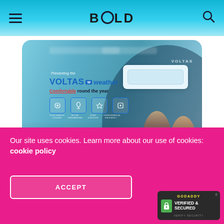BOLD — navigation bar with hamburger menu and search icon
[Figure (photo): Article card image showing Voltas weather AC advertisement with a couple sitting on a sofa, an air conditioning unit mounted on a wall, and promotional text: 'Presenting the VOLTAS weather Comfortable round the year, Upto 15% Cashback on Easy EMI'. Overlaid article title: '5 Top Cold Chain Management Solutions Companies In India']
5 Top Cold Chain Management Solutions Companies In India
BO CORRESPONDENT  - 4 DAYS AGO
Our site uses cookies. Learn more about our use of cookies: cookie policy
ACCEPT
[Figure (logo): GoDaddy Verified & Secured badge with lock icon and 'VERIFY SECURITY' text]